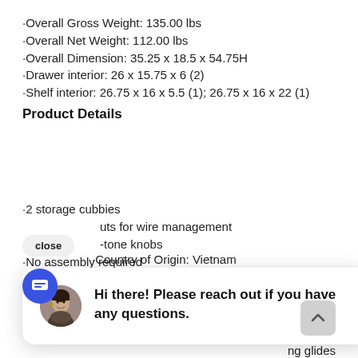·Overall Gross Weight: 135.00 lbs
·Overall Net Weight: 112.00 lbs
·Overall Dimension: 35.25 x 18.5 x 54.75H
·Drawer interior: 26 x 15.75 x 6 (2)
·Shelf interior: 26.75 x 16 x 5.5 (1); 26.75 x 16 x 22 (1)
Product Details
close
·Country of Origin: Vietnam
[Figure (screenshot): Chat support popup with avatar photo of a person and message: Hi there! Please reach out if you have any questions.]
od and
ray rub-
ng glides
·2 storage cubbies
uts for wire management
-tone knobs
·No assembly required
·Prop 65 Information